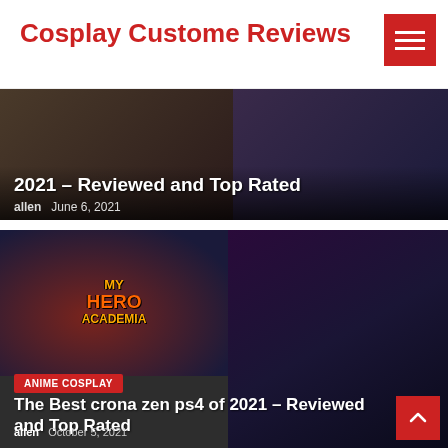Cosplay Custome Reviews
[Figure (screenshot): Banner image showing anime cosplay characters, partially visible at top]
2021 – Reviewed and Top Rated
allen   June 6, 2021
[Figure (screenshot): My Hero Academia artwork on left, League of Legends K/DA cosplay on right]
ANIME COSPLAY
The Best crona zen ps4 of 2021 – Reviewed and Top Rated
allen   October 5, 2021